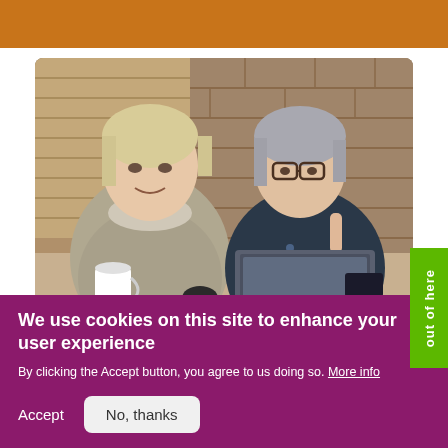[Figure (photo): Two women sitting at a table looking at a laptop together in a rustic brick-walled room. One has blonde hair and wears a grey fur-trimmed jacket; the other has grey hair and glasses and wears a dark floral top.]
out of here
We use cookies on this site to enhance your user experience
By clicking the Accept button, you agree to us doing so. More info
Accept
No, thanks